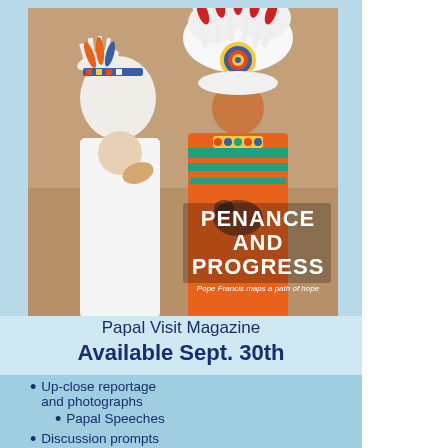[Figure (photo): Magazine cover titled 'PENANCE AND PROGRESS' with subtitle 'Pope Francis maps a path of hope', showing Pope Francis in white garments kissing the hand of an Indigenous person wearing traditional ceremonial regalia including a large feathered headdress]
Papal Visit Magazine
Available Sept. 30th
Up-close reportage and photographs
Papal Speeches
Discussion prompts